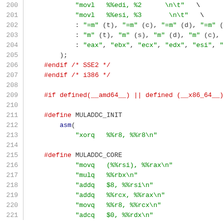Code listing lines 201-221, C preprocessor macros with inline assembly
201    "movl   %%esi, %3        \n\t"   \
202        : "=m" (t), "=m" (c), "=m" (d), "=m" (s
203        : "m" (t), "m" (s), "m" (d), "m" (c), "m
204        : "eax", "ebx", "ecx", "edx", "esi", "e
205        );
206    #endif /* SSE2 */
207    #endif /* i386 */
208    (empty)
209    #if defined(__amd64__) || defined (__x86_64__)
210    (empty)
211    #define MULADDC_INIT                              \
212        asm(                                          \
213            "xorq   %%r8, %%r8\n"
214    (empty)
215    #define MULADDC_CORE                              \
216            "movq   (%%rsi), %%rax\n"                 \
217            "mulq   %%rbx\n"                          \
218            "addq   $8, %%rsi\n"                      \
219            "addq   %%rcx, %%rax\n"                   \
220            "movq   %%r8, %%rcx\n"                    \
221            "adcq   $0, %%rdx\n"                      \